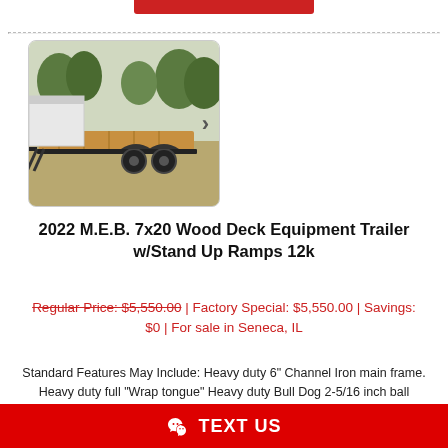[Figure (photo): Photo of a 2022 M.E.B. 7x20 Wood Deck Equipment Trailer with stand-up ramps, shown outdoors with trees in background.]
2022 M.E.B. 7x20 Wood Deck Equipment Trailer w/Stand Up Ramps 12k
Regular Price: $5,550.00 | Factory Special: $5,550.00 | Savings: $0 | For sale in Seneca, IL
Standard Features May Include: Heavy duty 6" Channel Iron main frame. Heavy duty full "Wrap tongue" Heavy duty Bull Dog 2-5/16 inch ball coupler. Heavy duty 8000# Drop Leg jack. Heavy duty safety chains and LED lighting. DOT reflective red/white